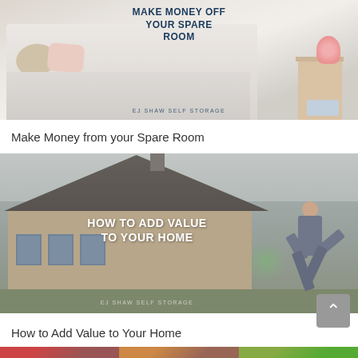[Figure (illustration): Bedroom photo with text overlay 'MAKE MONEY OFF YOUR SPARE ROOM' and 'EJ SHAW SELF STORAGE' branding]
Make Money from your Spare Room
[Figure (photo): House exterior with person jumping, text overlay 'HOW TO ADD VALUE TO YOUR HOME' and 'EJ SHAW SELF STORAGE' branding]
How to Add Value to Your Home